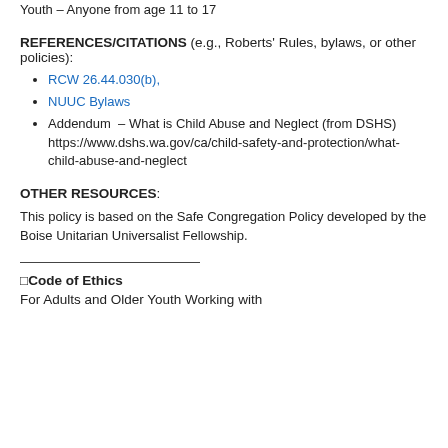Youth – Anyone from age 11 to 17
REFERENCES/CITATIONS (e.g., Roberts' Rules, bylaws, or other policies):
RCW 26.44.030(b),
NUUC Bylaws
Addendum – What is Child Abuse and Neglect (from DSHS) https://www.dshs.wa.gov/ca/child-safety-and-protection/what-child-abuse-and-neglect
OTHER RESOURCES:
This policy is based on the Safe Congregation Policy developed by the Boise Unitarian Universalist Fellowship.
Code of Ethics
For Adults and Older Youth Working with...